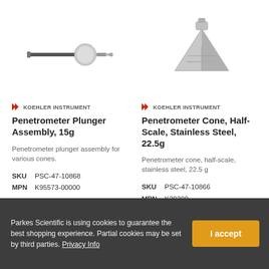[Figure (photo): Penetrometer plunger assembly - long thin rod with grey disc and connector tip]
[Figure (photo): Penetrometer cone, half-scale, stainless steel - cone shaped metal component with triangular tip]
KOEHLER INSTRUMENT
Penetrometer Plunger Assembly, 15g
Penetrometer plunger assembly for various cones.
SKU PSC-47-10868
MPN K95573-00000
Call for Availability
Call for Pricing
KOEHLER INSTRUMENT
Penetrometer Cone, Half-Scale, Stainless Steel, 22.5g
Penetrometer cone, half-scale, stainless steel, 22.5 g
SKU PSC-47-10866
MPN K20200
Call for Availability
Call for Pricing
[Figure (photo): Partial product image at bottom left]
[Figure (photo): Partial product image at bottom right]
Parkes Scientific is using cookies to guarantee the best shopping experience. Partial cookies may be set by third parties. Privacy Info